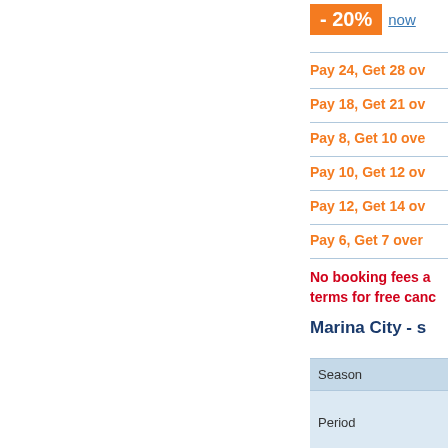- 20%  now
Pay 24, Get 28 ov...
Pay 18, Get 21 ov...
Pay 8, Get 10 ove...
Pay 10, Get 12 ov...
Pay 12, Get 14 ov...
Pay 6, Get 7 over...
No booking fees a... terms for free canc...
Marina City - s...
| Season |
| --- |
| Period |
| Studio |